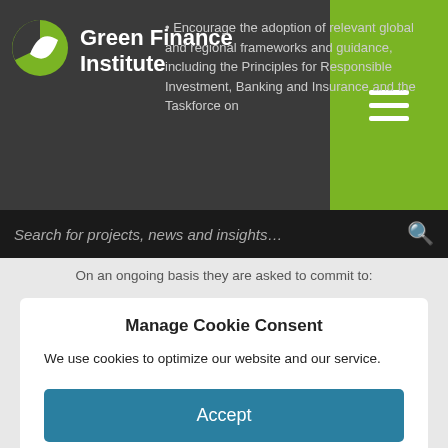Green Finance Institute
Encourage the adoption of relevant global and regional frameworks and guidance, including the Principles for Responsible Investment, Banking and Insurance and the Taskforce on
Search for projects, news and insights…
On an ongoing basis they are asked to commit to:
Manage Cookie Consent
We use cookies to optimize our website and our service.
Accept
Deny
Preferences